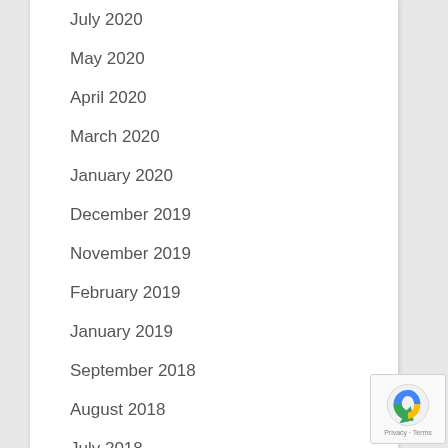July 2020
May 2020
April 2020
March 2020
January 2020
December 2019
November 2019
February 2019
January 2019
September 2018
August 2018
July 2018
January 2017